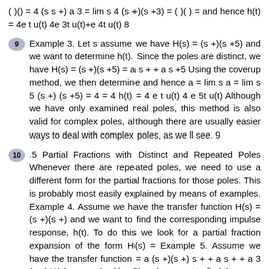( )() = 4 (s s +) a 3 = lim s 4 (s +)(s +3) = ( )( ) = and hence h(t) = 4e t u(t) 4e 3t u(t)+e 4t u(t) 8
9 Example 3. Let s assume we have H(s) = (s +)(s +5) and we want to determine h(t). Since the poles are distinct, we have H(s) = (s +)(s +5) = a s + + a s +5 Using the coverup method, we then determine and hence a = lim s a = lim s 5 (s +) (s +5) = 4 = 4 h(t) = 4 e t u(t) 4 e 5t u(t) Although we have only examined real poles, this method is also valid for complex poles, although there are usually easier ways to deal with complex poles, as we ll see. 9
10 .5 Partial Fractions with Distinct and Repeated Poles Whenever there are repeated poles, we need to use a different form for the partial fractions for those poles. This is probably most easily explained by means of examples. Example 4. Assume we have the transfer function H(s) = (s +)(s +) and we want to find the corresponding impulse response, h(t). To do this we look for a partial fraction expansion of the form H(s) = Example 5. Assume we have the transfer function = a (s +)(s +) s + + a s + + a 3 (s +) H(s) = s + s (s +)(s +3) and we want to find the